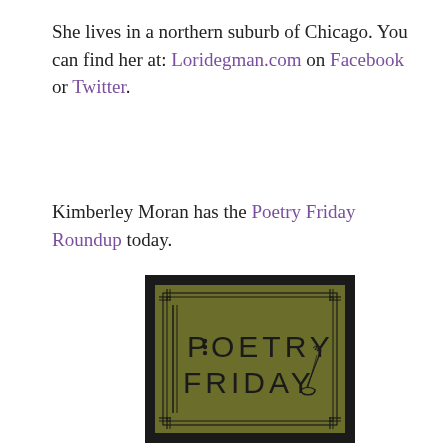She lives in a northern suburb of Chicago. You can find her at: Loridegman.com on Facebook or Twitter.
Kimberley Moran has the Poetry Friday Roundup today.
[Figure (illustration): Poetry Friday logo: olive green rectangle with thick black border, decorated with double-line border ornament, text 'POETRY FRIDAY' in tall thin capital letters, with a quill-and-inkwell illustration and three dots forming a decorative element in the letter O.]